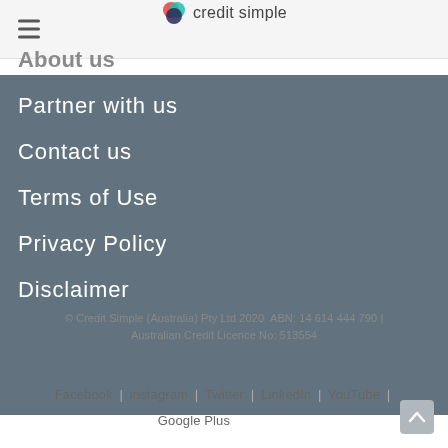credit simple
About us
Partner with us
Contact us
Terms of Use
Privacy Policy
Disclaimer
© Credit Simple (Australia) Pty Ltd 2020  ABN: 14 614 444 790 | Australian Credit Licence No: 513554
Facebook  |  instagram  |  Twitter  |  LinkedIn  |  YouTube  |  Google Plus